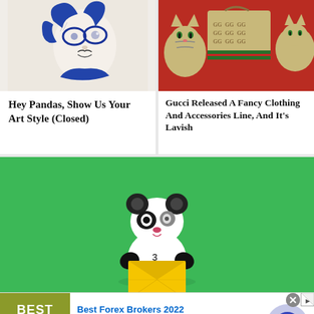[Figure (illustration): Illustrated character with blue hair and goggles, drawn in ink/watercolor style on white background]
Hey Pandas, Show Us Your Art Style (Closed)
[Figure (photo): Photo of cats next to Gucci branded luggage/bags on a red background]
Gucci Released A Fancy Clothing And Accessories Line, And It's Lavish
[Figure (illustration): Cartoon panda character holding a yellow envelope on a green background]
[Figure (other): Advertisement banner for Best Forex Brokers 2022 from forex-ratings.com with logo, text, and arrow button]